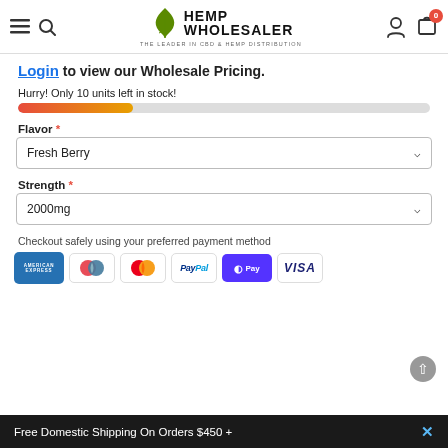[Figure (logo): Hemp Wholesaler logo with green cannabis leaf icon and text 'THE LEADER IN CBD & HEMP DISTRIBUTION']
Login to view our Wholesale Pricing.
Hurry! Only 10 units left in stock!
[Figure (infographic): Stock level progress bar showing approximately 28% filled with red-to-orange gradient]
Flavor *
Fresh Berry
Strength *
2000mg
Checkout safely using your preferred payment method
[Figure (infographic): Payment method icons: American Express, Maestro, Mastercard, PayPal, Shop Pay, Visa]
Free Domestic Shipping On Orders $450 +